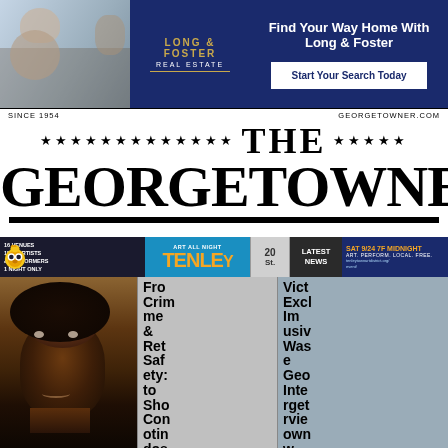[Figure (photo): Long & Foster Real Estate advertisement banner with family photo, logo, tagline 'Find Your Way Home With Long & Foster' and button 'Start Your Search Today']
SINCE 1954 | GEORGETOWNER.COM
★★★★★★★★★★★★★ THE ★★★★★ GEORGETOWNER
[Figure (infographic): Ad strip: 16 Venues, 150+ Artists & Performers, 1 Night Only owl graphic | ART ALL NIGHT TENLEY | 20 St. | LATEST NEWS | SAT 9/24 7F MIDNIGHT ART. PERFORM. LOCAL. FREE. tenleytownartdistrict.org/event/]
[Figure (photo): Portrait painting of a young Black man]
Fro Crime & Ret Safety: to Shooting Con dos on Co School's
Vict Excl Imm usiv Was e Geo Inte rget rvie own w Soci on alite the Jac Mi or ga ic Co uit